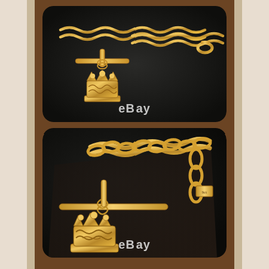[Figure (photo): Close-up photo of an antique gold watch chain with curb links, a T-bar, and an ornate crown fob pendant, displayed on a dark background. eBay watermark visible.]
[Figure (photo): Close-up photo of the same antique gold watch chain showing the curb links, T-bar, and decorative crown fob from a different angle on a dark surface. eBay watermark visible.]